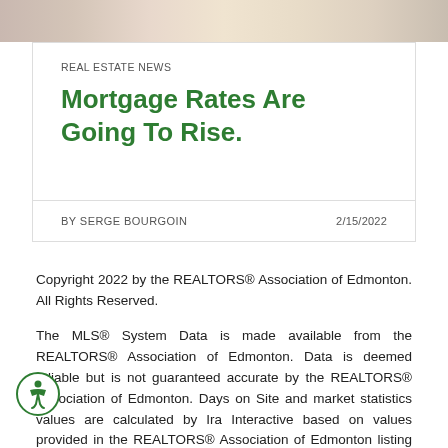[Figure (photo): Banner photo at top of article page, showing blurred real estate or interior image in warm tones]
REAL ESTATE NEWS
Mortgage Rates Are Going To Rise.
BY SERGE BOURGOIN   2/15/2022
Copyright 2022 by the REALTORS® Association of Edmonton. All Rights Reserved.
The MLS® System Data is made available from the REALTORS® Association of Edmonton. Data is deemed reliable but is not guaranteed accurate by the REALTORS® Association of Edmonton. Days on Site and market statistics values are calculated by Ira Interactive based on values provided in the REALTORS® Association of Edmonton listing data feed. Mortgage values are